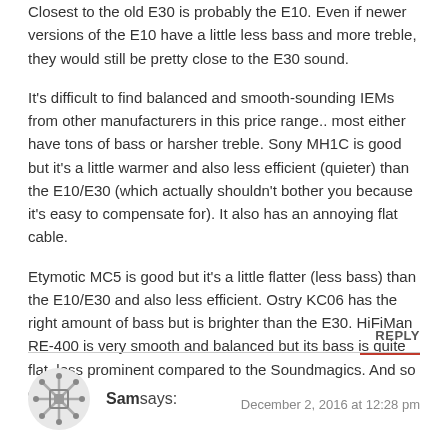Closest to the old E30 is probably the E10. Even if newer versions of the E10 have a little less bass and more treble, they would still be pretty close to the E30 sound.
It's difficult to find balanced and smooth-sounding IEMs from other manufacturers in this price range.. most either have tons of bass or harsher treble. Sony MH1C is good but it's a little warmer and also less efficient (quieter) than the E10/E30 (which actually shouldn't bother you because it's easy to compensate for). It also has an annoying flat cable.
Etymotic MC5 is good but it's a little flatter (less bass) than the E10/E30 and also less efficient. Ostry KC06 has the right amount of bass but is brighter than the E30. HiFiMan RE-400 is very smooth and balanced but its bass is quite flat, less prominent compared to the Soundmagics. And so on…
REPLY
Sam says: December 2, 2016 at 12:28 pm